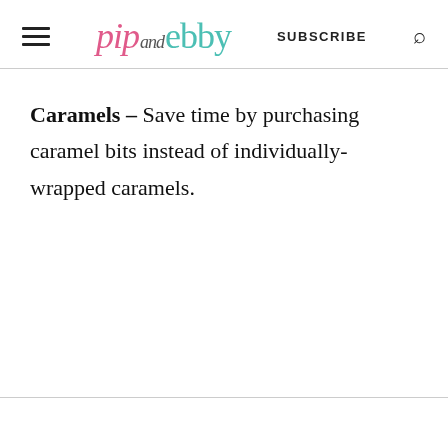pip and ebby | SUBSCRIBE
Caramels – Save time by purchasing caramel bits instead of individually-wrapped caramels.